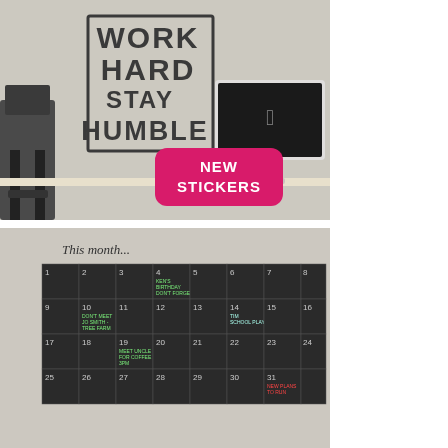[Figure (photo): Photo of a wall with a 'WORK HARD STAY HUMBLE' vinyl wall sticker in bold dark lettering, an iMac on a desk, and a dark office chair. A pink rounded-rectangle button overlay reads 'NEW STICKERS'.]
[Figure (photo): Photo of a wall with a chalkboard-style monthly calendar wall sticker. The calendar header reads 'This month...' in italic script, with a grid of dark squares numbered 1-31, some containing handwritten chalk notes.]